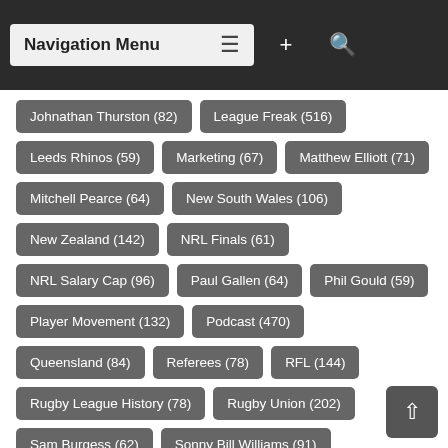Navigation Menu
Johnathan Thurston (82)
League Freak (516)
Leeds Rhinos (59)
Marketing (67)
Matthew Elliott (71)
Mitchell Pearce (64)
New South Wales (106)
New Zealand (142)
NRL Finals (61)
NRL Salary Cap (96)
Paul Gallen (64)
Phil Gould (59)
Player Movement (132)
Podcast (470)
Queensland (84)
Referees (78)
RFL (144)
Rugby League History (78)
Rugby Union (202)
Sam Burgess (62)
Sonny Bill Williams (91)
State Of Origin (181)
St Helens (66)
Todd Carney (62)
Wayne Bennett (83)
Wigan (59)